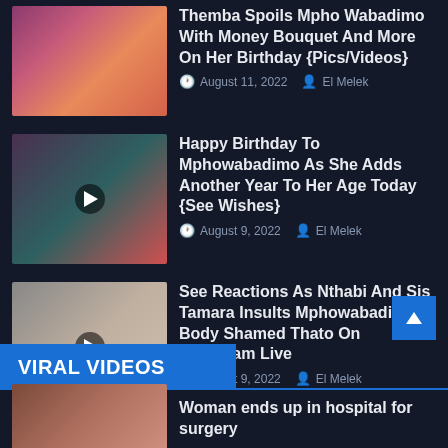[Figure (photo): Thumbnail image with colorful birthday gifts and flowers]
Themba Spoils Mpho Wabadimo With Money Bouquet And More On Her Birthday {Pics/Videos}
August 11, 2022   El Melek
[Figure (photo): Thumbnail image of two people, video play button overlay]
Happy Birthday To Mphowabadimo As She Adds Another Year To Her Age Today {See Wishes}
August 9, 2022   El Melek
[Figure (photo): Thumbnail image of a woman in sunglasses, video play button overlay]
See Reactions As Nthabi And Sis Tamara Insults Mphowabadimo, Body Shamed Thato On Instagram Live
August 9, 2022   El Melek
VIRAL VIDEOS
[Figure (photo): Thumbnail image for viral video article]
Woman ends up in hospital for surgery